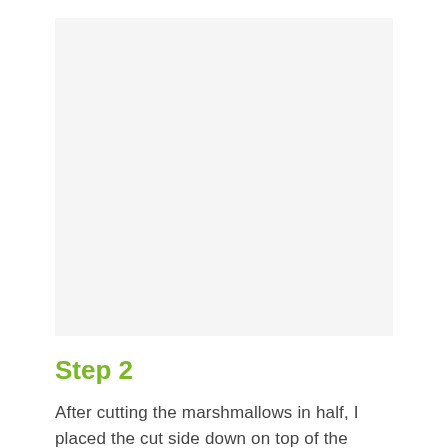[Figure (photo): Light gray placeholder rectangle representing an image area]
Step 2
After cutting the marshmallows in half, I placed the cut side down on top of the chocolate chips.